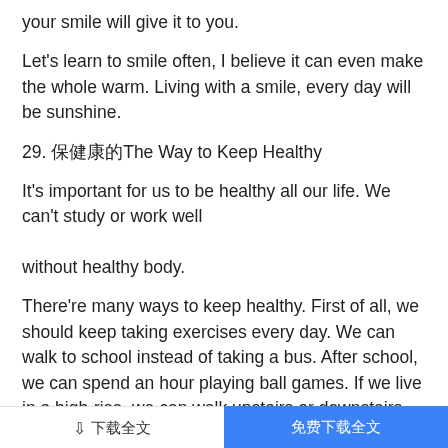your smile will give it to you.
Let's learn to smile often, I believe it can even make the whole warm. Living with a smile, every day will be sunshine.
29. 保持健康The Way to Keep Healthy
It's important for us to be healthy all our life. We can't study or work well
without healthy body.
There're many ways to keep healthy. First of all, we should keep taking exercises every day. We can walk to school instead of taking a bus. After school, we can spend an hour playing ball games. If we live in a high-rise, we can walk upstairs or downstairs. Second, we should have a balanced diet. Finally, we must remember: "Early to bed, early to rise is the way to keep healthy.
下载全文 | 免费下载全文